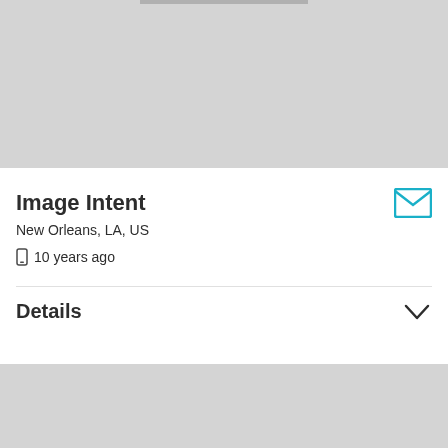[Figure (photo): Gray background area at top of page with a partial image strip visible at top center]
Image Intent
New Orleans, LA, US
10 years ago
Details
[Figure (photo): Gray background area at bottom with a partial photo of trees against a blue cloudy sky visible at bottom center]